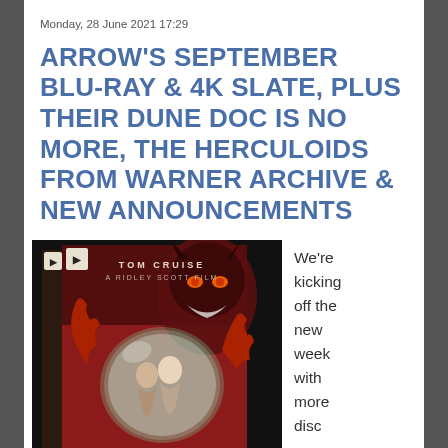Monday, 28 June 2021 17:29
ARROW'S SEPTEMBER BLU-RAY & 4K SLATE, PLUS THEIR DUNE DOC IS NO MORE, THE HERCULOIDS FROM WARNER ARCHIVE & NEW ANNOUNCEMENTS
[Figure (photo): Arrow Video Blu-ray box set of 'Legend' featuring Tom Cruise, a Ridley Scott film. Box art shows two figures in a glowing bubble with a demonic creature looming above, red background. The word LEGEND is visible vertically on the spine.]
We're kicking off the new week with more disc